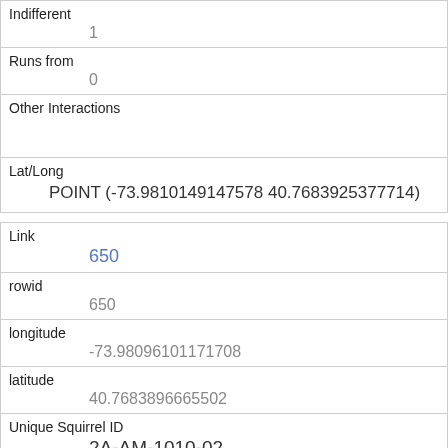| Indifferent | 1 |
| Runs from | 0 |
| Other Interactions |  |
| Lat/Long | POINT (-73.9810149147578 40.7683925377714) |
| Link | 650 |
| rowid | 650 |
| longitude | -73.98096101171708 |
| latitude | 40.7683896665502 |
| Unique Squirrel ID | 2A-AM-1010-02 |
| Hectare |  |